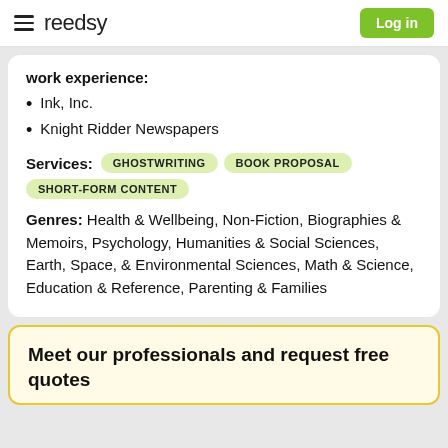reedsy | Log in
work experience:
Ink, Inc.
Knight Ridder Newspapers
Services: GHOSTWRITING  BOOK PROPOSAL  SHORT-FORM CONTENT
Genres: Health & Wellbeing, Non-Fiction, Biographies & Memoirs, Psychology, Humanities & Social Sciences, Earth, Space, & Environmental Sciences, Math & Science, Education & Reference, Parenting & Families
Meet our professionals and request free quotes